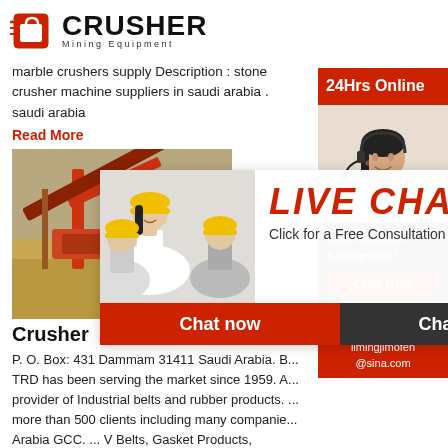[Figure (logo): Crusher Mining Equipment logo with red shopping bag icon and bold text]
marble crushers supply Description : stone crusher machine suppliers in saudi arabia . saudi arabia
Read More
[Figure (photo): Red industrial crusher machine with sandy excavation site in background]
Crusher
[Figure (infographic): Live Chat overlay with workers in hard hats, LIVE CHAT title in red italic, Chat now and Chat later buttons]
P. O. Box: 431 Dammam 31411 Saudi Arabia. B... TRD has been serving the market since 1959. A... provider of Industrial belts and rubber products. ... more than 500 clients including many companie... Arabia GCC. ... V Belts, Gasket Products, Rubbe... Chains Sprockets, Crusher Need, Wire Mesh, Ro...
...
Read More
[Figure (infographic): Right sidebar: 24Hrs Online banner, customer service agent photo with headset, Need questions & suggestion? Chat Now button, Enquiry section, limingjlmofen@sina.com email]